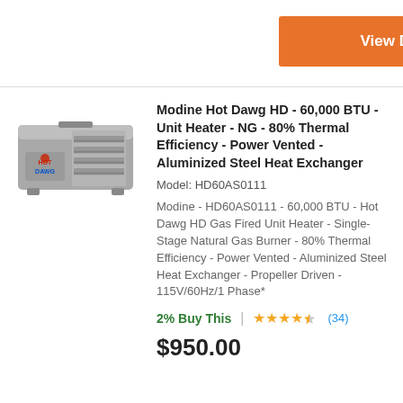View Details
[Figure (illustration): Grey Modine Hot Dawg HD unit heater with HOT DAWG branding in red/blue on the side, showing louvered front panel]
Modine Hot Dawg HD - 60,000 BTU - Unit Heater - NG - 80% Thermal Efficiency - Power Vented - Aluminized Steel Heat Exchanger
Model: HD60AS0111
Modine - HD60AS0111 - 60,000 BTU - Hot Dawg HD Gas Fired Unit Heater - Single-Stage Natural Gas Burner - 80% Thermal Efficiency - Power Vented - Aluminized Steel Heat Exchanger - Propeller Driven - 115V/60Hz/1 Phase*
2% Buy This  |  ★★★★½ (34)
$950.00